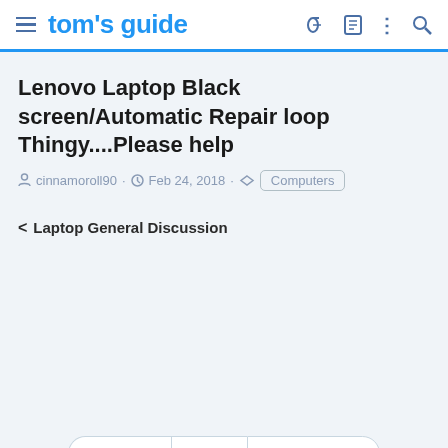tom's guide
Lenovo Laptop Black screen/Automatic Repair loop Thingy....Please help
cinnamoroll90 · Feb 24, 2018 · Computers
< Laptop General Discussion
Previous | Next | Sort by votes